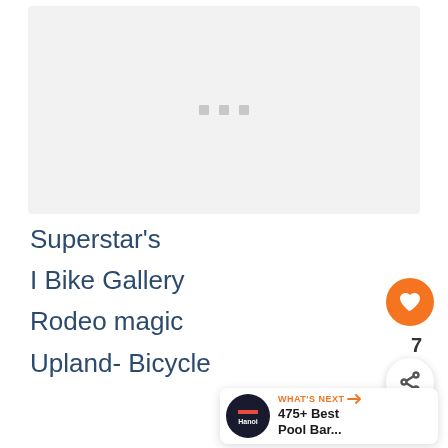[Figure (photo): Image placeholder area with three small grey dots indicating a loading or slideshow indicator]
Superstar's
I Bike Gallery
Rodeo magic
Upland- Bicycle
WHAT'S NEXT → 475+ Best Pool Bar...